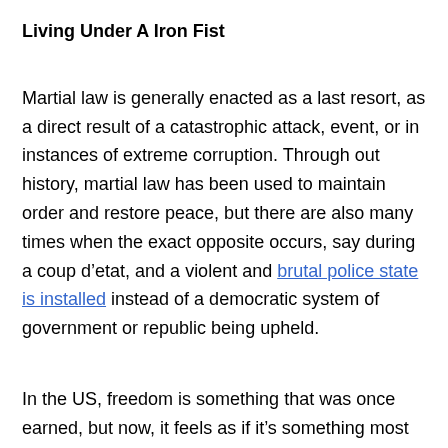Living Under A Iron Fist
Martial law is generally enacted as a last resort, as a direct result of a catastrophic attack, event, or in instances of extreme corruption. Through out history, martial law has been used to maintain order and restore peace, but there are also many times when the exact opposite occurs, say during a coup d’etat, and a violent and brutal police state is installed instead of a democratic system of government or republic being upheld.
In the US, freedom is something that was once earned, but now, it feels as if it’s something most folks take for granted. Say one day you wake up and turn on the news